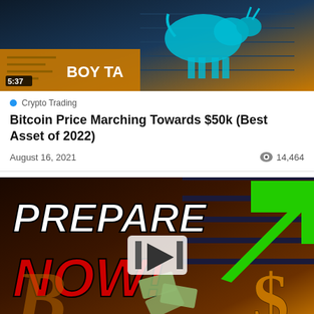[Figure (screenshot): Video thumbnail showing a bull figure on dark background with orange/gold logo reading 'BOY TA' and duration badge '5:37']
Crypto Trading
Bitcoin Price Marching Towards $50k (Best Asset of 2022)
August 16, 2021    14,464
[Figure (screenshot): Video thumbnail with text 'PREPARE NOW!' in bold white and red letters, green arrow pointing up-right, gold dollar sign, Bitcoin B logo, and play button overlay]